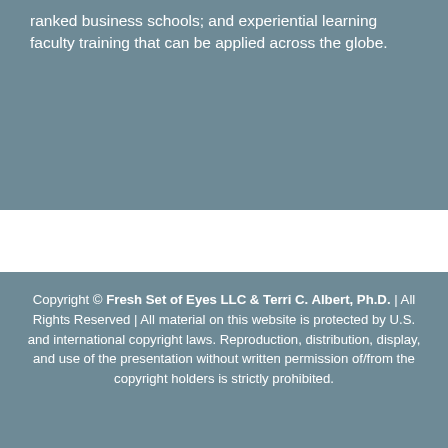ranked business schools; and experiential learning faculty training that can be applied across the globe.
Copyright © Fresh Set of Eyes LLC & Terri C. Albert, Ph.D. | All Rights Reserved | All material on this website is protected by U.S. and international copyright laws. Reproduction, distribution, display, and use of the presentation without written permission of/from the copyright holders is strictly prohibited.